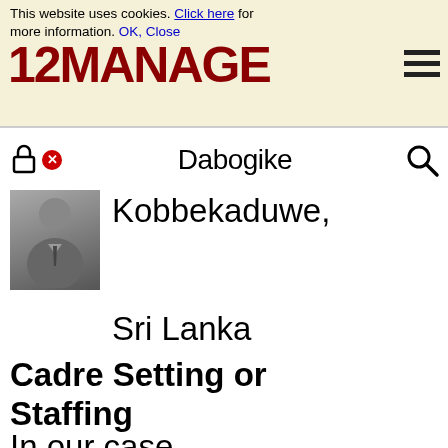This website uses cookies. Click here for more information. OK, Close
[Figure (logo): 12MANAGE logo in dark red bold text with hamburger menu icon]
[Figure (screenshot): Search bar with login icon, error badge (X), and search icon on the right]
[Figure (photo): Generic profile silhouette of a person in a suit]
Daborgike Kobbekaduwe, Sri Lanka
Cadre Setting or Staffing
In our case,